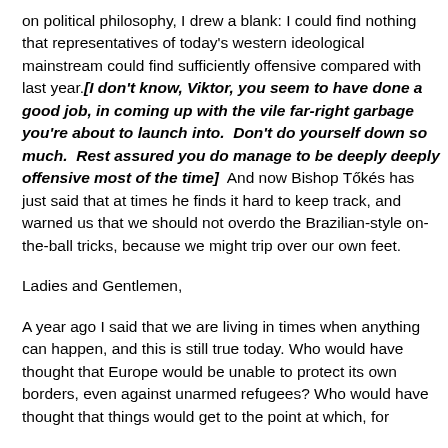on political philosophy, I drew a blank: I could find nothing that representatives of today's western ideological mainstream could find sufficiently offensive compared with last year.[I don't know, Viktor, you seem to have done a good job, in coming up with the vile far-right garbage you're about to launch into.  Don't do yourself down so much.  Rest assured you do manage to be deeply deeply offensive most of the time]  And now Bishop Tőkés has just said that at times he finds it hard to keep track, and warned us that we should not overdo the Brazilian-style on-the-ball tricks, because we might trip over our own feet.
Ladies and Gentlemen,
A year ago I said that we are living in times when anything can happen, and this is still true today. Who would have thought that Europe would be unable to protect its own borders, even against unarmed refugees? Who would have thought that things would get to the point at which, for